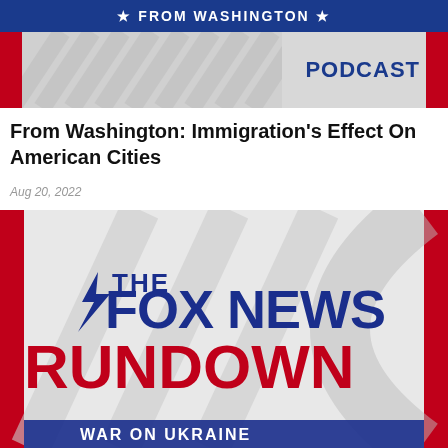[Figure (logo): From Washington Podcast banner with blue bar reading '★ FROM WASHINGTON ★', grey area with red side bars and PODCAST text in bold blue on the right]
From Washington: Immigration's Effect On American Cities
Aug 20, 2022
[Figure (logo): The Fox News Rundown podcast logo: dark blue 'THE FOX NEWS' text with lightning bolt icon and large red 'RUNDOWN' text, on a grey background with red borders on left and right, and partial 'WAR ON UKRAINE' text visible at bottom]